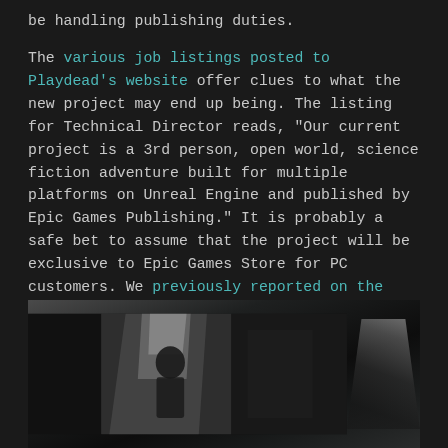be handling publishing duties.
The various job listings posted to Playdead's website offer clues to what the new project may end up being. The listing for Technical Director reads, "Our current project is a 3rd person, open world, science fiction adventure built for multiple platforms on Unreal Engine and published by Epic Games Publishing." It is probably a safe bet to assume that the project will be exclusive to Epic Games Store for PC customers. We previously reported on the project last year when the studio was aiming to expand its staff and it would appear that those original plans have continued to expand.
[Figure (photo): Dark, mostly black and white photograph showing a partially visible figure or object, likely a promotional or atmospheric image related to Playdead's upcoming game.]